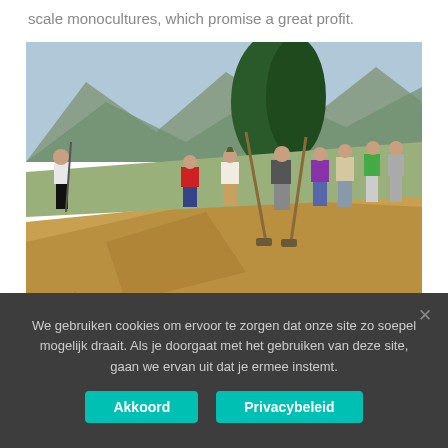scale monocultures, which promise a great profit.
[Figure (photo): Group of people digging and working on a terraced hillside with shovels. Mountainous forested landscape in background. Several men are actively digging while others watch.]
We gebruiken cookies om ervoor te zorgen dat onze site zo soepel mogelijk draait. Als je doorgaat met het gebruiken van deze site, gaan we ervan uit dat je ermee instemt.
Akkoord
Privacybeleid